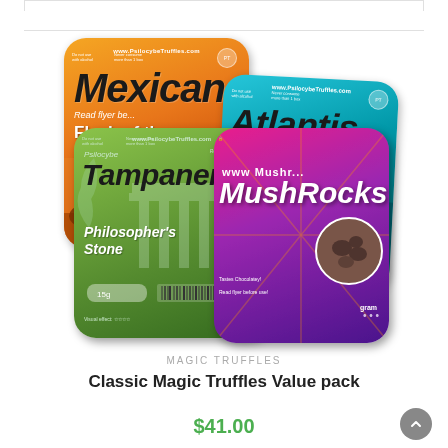[Figure (photo): Four colorful magic truffle product packages arranged overlapping: Psilocybe Mexicana (orange, desert scene), Psilocybe Atlantis (blue/teal, ocean theme), Psilocybe Tampanensis (green, philosopher's stone), and MushRocks (purple/pink). All packages from www.PsilocybeTruffles.com.]
MAGIC TRUFFLES
Classic Magic Truffles Value pack
$41.00